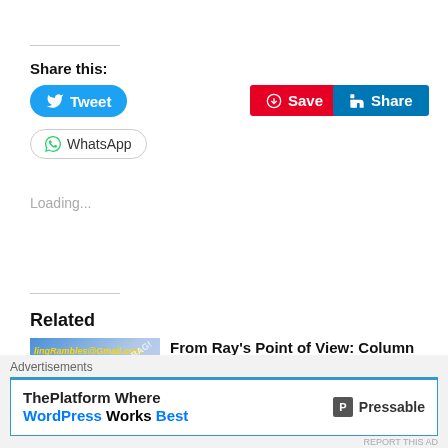Share this:
[Figure (screenshot): Social share buttons: Tweet (Twitter/blue), Save (Pinterest/red), Share (LinkedIn/teal), WhatsApp (outlined)]
Loading...
Related
[Figure (screenshot): Related post thumbnail: wrestling rambles twitter mailbag image]
From Ray's Point of View: Column 21
November 9, 2011
In "From Ray's Point of
Advertisements
[Figure (screenshot): Advertisement: ThePlatform Where WordPress Works Best — Pressable]